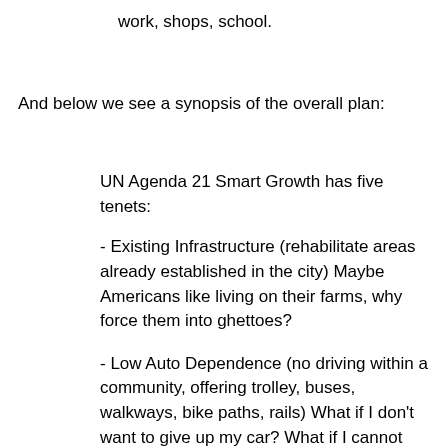work, shops, school.
And below we see a synopsis of the overall plan:
UN Agenda 21 Smart Growth has five tenets:
- Existing Infrastructure (rehabilitate areas already established in the city) Maybe Americans like living on their farms, why force them into ghettoes?
- Low Auto Dependence (no driving within a community, offering trolley, buses, walkways, bike paths, rails) What if I don't want to give up my car? What if I cannot bike, walk, take bus, or train?
- High Density (anti-sprawl, plucking us from the suburbs and placing us forcefully into tenements